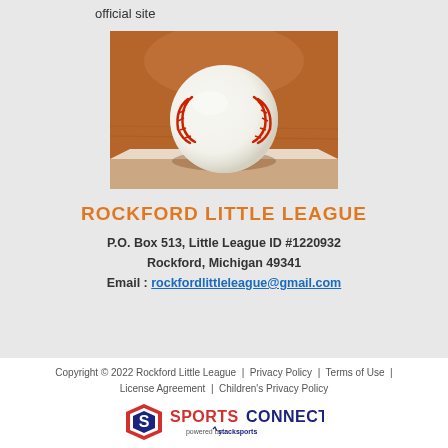official site
[Figure (photo): A baseball resting on the white baseline chalk on a dirt infield, close-up photo.]
ROCKFORD LITTLE LEAGUE
P.O. Box 513, Little League ID #1220932
Rockford, Michigan 49341
Email : rockfordlittleleague@gmail.com
Copyright © 2022 Rockford Little League | Privacy Policy | Terms of Use | License Agreement | Children's Privacy Policy
[Figure (logo): Sports Connect logo with a stylized S icon in red and blue, text reading SPORTS CONNECT, powered by stacksports.]